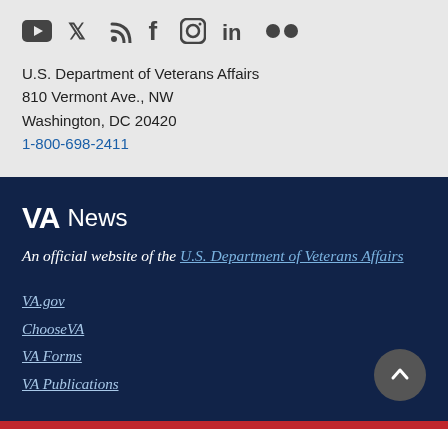[Figure (other): Social media icons row: YouTube, Twitter, RSS feed, Facebook, Instagram, LinkedIn, Flickr]
U.S. Department of Veterans Affairs
810 Vermont Ave., NW
Washington, DC 20420
1-800-698-2411
VA News
An official website of the U.S. Department of Veterans Affairs
VA.gov
ChooseVA
VA Forms
VA Publications